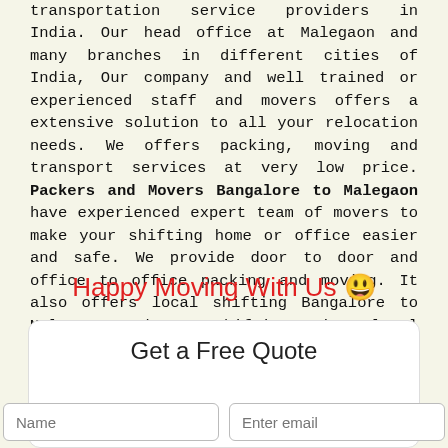transportation service providers in India. Our head office at Malegaon and many branches in different cities of India, Our company and well trained or experienced staff and movers offers a extensive solution to all your relocation needs. We offers packing, moving and transport services at very low price. Packers and Movers Bangalore to Malegaon have experienced expert team of movers to make your shifting home or office easier and safe. We provide door to door and office to office packing and moving. It also offers local shifting Bangalore to Malegaon, home shifting in local Malegaon, office shifting local Malegaon, office relocation in local Malegaon etc.
Happy Moving With Us 😊
Get a Free Quote